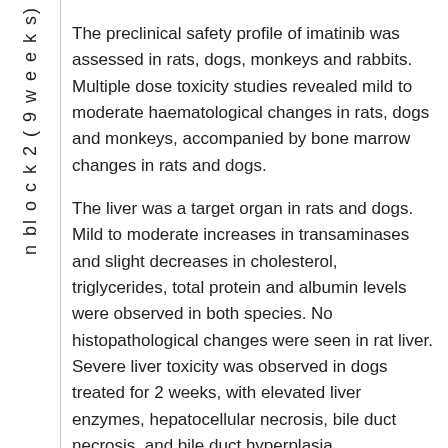n
bl
o
c
k
2
(
9
w
e
e
k
s)
The preclinical safety profile of imatinib was assessed in rats, dogs, monkeys and rabbits. Multiple dose toxicity studies revealed mild to moderate haematological changes in rats, dogs and monkeys, accompanied by bone marrow changes in rats and dogs. The liver was a target organ in rats and dogs. Mild to moderate increases in transaminases and slight decreases in cholesterol, triglycerides, total protein and albumin levels were observed in both species. No histopathological changes were seen in rat liver. Severe liver toxicity was observed in dogs treated for 2 weeks, with elevated liver enzymes, hepatocellular necrosis, bile duct necrosis, and bile duct hyperplasia. Renal toxicity was observed in monkeys treated